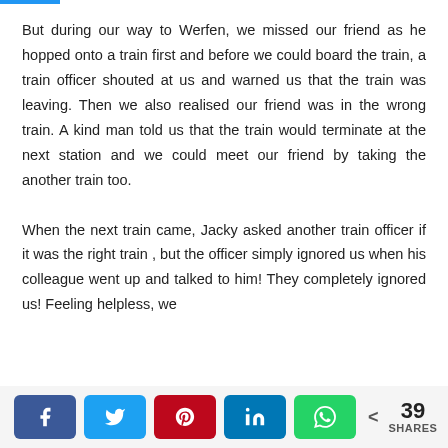But during our way to Werfen, we missed our friend as he hopped onto a train first and before we could board the train, a train officer shouted at us and warned us that the train was leaving. Then we also realised our friend was in the wrong train. A kind man told us that the train would terminate at the next station and we could meet our friend by taking the another train too.

When the next train came, Jacky asked another train officer if it was the right train , but the officer simply ignored us when his colleague went up and talked to him! They completely ignored us! Feeling helpless, we
[Figure (other): Social sharing bar with Facebook, Twitter, Pinterest, LinkedIn, WhatsApp buttons and a share count showing 39 SHARES]